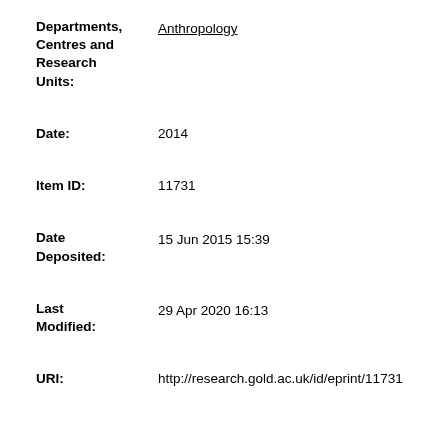| Field | Value |
| --- | --- |
| Departments, Centres and Research Units: | Anthropology |
| Date: | 2014 |
| Item ID: | 11731 |
| Date Deposited: | 15 Jun 2015 15:39 |
| Last Modified: | 29 Apr 2020 16:13 |
| URI: | http://research.gold.ac.uk/id/eprint/11731 |